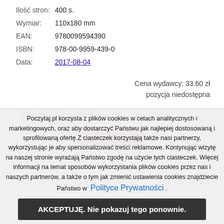| Ilość stron: | 400 s. |
| Wymiar: | 110x180 mm |
| EAN: | 9780099594390 |
| ISBN: | 978-00-9959-439-0 |
| Data: | 2017-08-04 |
Cena wydawcy: 33.60 zł
pozycja niedostępna
Produkty podobne:
[Figure (other): Red product image thumbnail]
Poczytaj.pl korzysta z plików cookies w celach analitycznych i marketingowych, oraz aby dostarczyć Państwu jak najlepiej dostosowaną i sprofilowaną ofertę.Z ciasteczek korzystają także nasi partnerzy, wykorzystując je aby spersonalizować treści reklamowe. Kontynując wizytę na naszej stronie wyrażają Państwo zgodę na użycie tych ciasteczek. Więcej informacji na temat sposobów wykorzystania plików cookies przez nas i naszych partnerów, a także o tym jak zmienić ustawienia cookies znajdziecie Państwo w Polityce Prywatności .
AKCEPTUJĘ. Nie pokazuj tego ponownie.